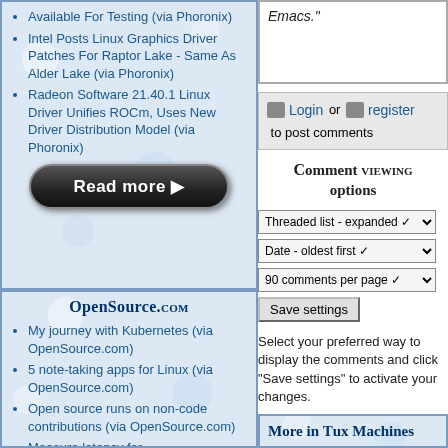Available For Testing (via Phoronix)
Intel Posts Linux Graphics Driver Patches For Raptor Lake - Same As Alder Lake (via Phoronix)
Radeon Software 21.40.1 Linux Driver Unifies ROCm, Uses New Driver Distribution Model (via Phoronix)
[Figure (other): Read more button - dark rounded button with white text and play arrow]
OpenSource.com
My journey with Kubernetes (via OpenSource.com)
5 note-taking apps for Linux (via OpenSource.com)
Open source runs on non-code contributions (via OpenSource.com)
Measure latency for
Emacs."
Login or register to post comments
Comment viewing options
Threaded list - expanded
Date - oldest first
90 comments per page
Save settings
Select your preferred way to display the comments and click "Save settings" to activate your changes.
More in Tux Machines
Highlights